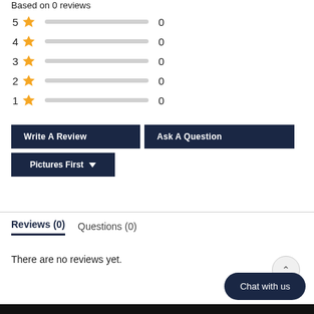Based on 0 reviews
[Figure (bar-chart): Star ratings distribution]
Write A Review
Ask A Question
Pictures First
Reviews (0)
Questions (0)
There are no reviews yet.
Chat with us